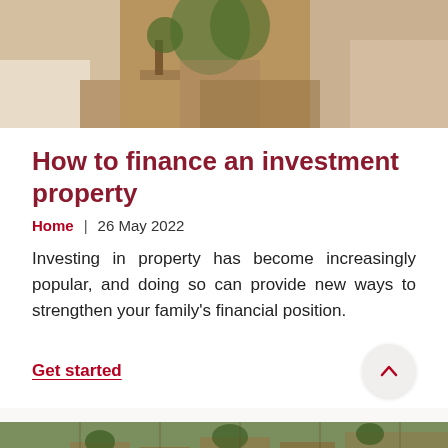[Figure (photo): Indoor scene with a person sitting on a tiled floor next to a plant and boxes, a small table nearby, warm tones]
How to finance an investment property
Home  |  26 May 2022
Investing in property has become increasingly popular, and doing so can provide new ways to strengthen your family's financial position.
Get started
[Figure (photo): Aerial view of a residential suburb with roads, rooftops, and trees]